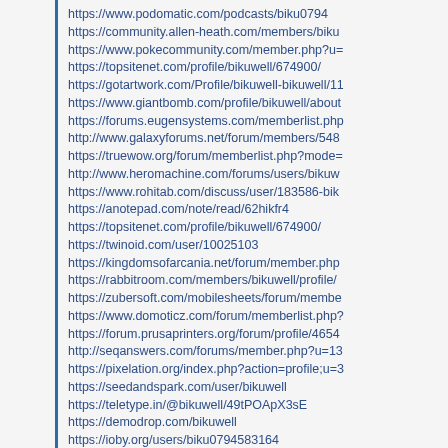https://www.podomatic.com/podcasts/biku0794
https://community.allen-heath.com/members/biku
https://www.pokecommunity.com/member.php?u=
https://topsitenet.com/profile/bikuwell/674900/
https://gotartwork.com/Profile/bikuwell-bikuwell/11
https://www.giantbomb.com/profile/bikuwell/about
https://forums.eugensystems.com/memberlist.php
http://www.galaxyforums.net/forum/members/548
https://truewow.org/forum/memberlist.php?mode=
http://www.heromachine.com/forums/users/bikuw
https://www.rohitab.com/discuss/user/183586-bik
https://anotepad.com/note/read/62hikfr4
https://topsitenet.com/profile/bikuwell/674900/
https://twinoid.com/user/10025103
https://kingdomsofarcania.net/forum/member.php
https://rabbitroom.com/members/bikuwell/profile/
https://zubersoft.com/mobilesheets/forum/membe
https://www.domoticz.com/forum/memberlist.php?
https://forum.prusaprinters.org/forum/profile/4654
http://seqanswers.com/forums/member.php?u=13
https://pixelation.org/index.php?action=profile;u=3
https://seedandspark.com/user/bikuwell
https://teletype.in/@bikuwell/49tPOApX3sE
https://demodrop.com/bikuwell
https://ioby.org/users/biku0794583164